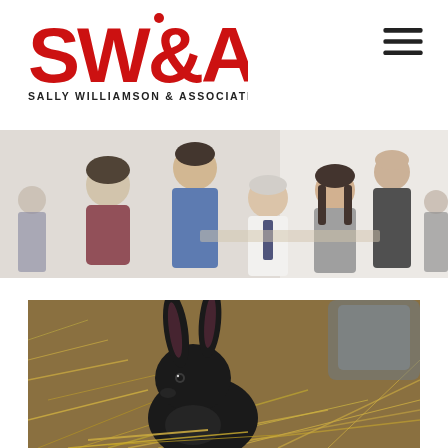[Figure (logo): SW&A Sally Williamson & Associates logo in red with tagline in dark gray]
[Figure (other): Hamburger menu icon (three horizontal lines) in dark gray]
[Figure (photo): Office scene with multiple people engaged in a meeting or discussion, bright office environment]
[Figure (photo): Black rabbit sitting in hay/straw, close-up photo]